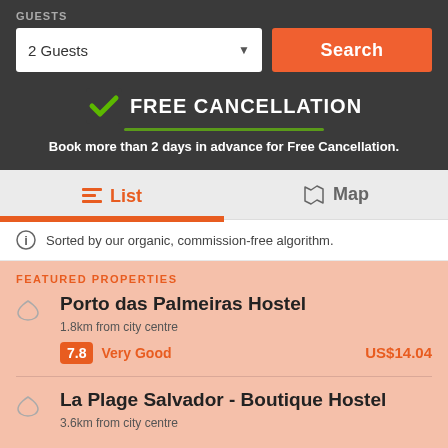GUESTS
2 Guests
Search
FREE CANCELLATION
Book more than 2 days in advance for Free Cancellation.
List
Map
Sorted by our organic, commission-free algorithm.
FEATURED PROPERTIES
Porto das Palmeiras Hostel
1.8km from city centre
7.8 Very Good US$14.04
La Plage Salvador - Boutique Hostel
3.6km from city centre